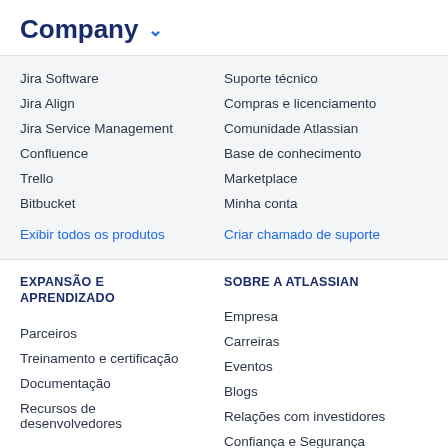Company
Jira Software
Jira Align
Jira Service Management
Confluence
Trello
Bitbucket
Exibir todos os produtos
Suporte técnico
Compras e licenciamento
Comunidade Atlassian
Base de conhecimento
Marketplace
Minha conta
Criar chamado de suporte
EXPANSÃO E APRENDIZADO
Parceiros
Treinamento e certificação
Documentação
Recursos de desenvolvedores
SOBRE A ATLASSIAN
Empresa
Carreiras
Eventos
Blogs
Relações com investidores
Confiança e Segurança